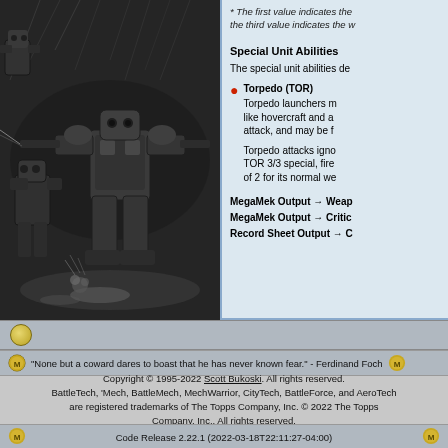[Figure (illustration): Black and white illustration of BattleMech robots in combat, sci-fi military scene with mechs and explosions]
* The first value indicates the [truncated] the third value indicates the w[truncated]
Special Unit Abilities
The special unit abilities de[truncated]
Torpedo (TOR) — Torpedo launchers m[truncated] like hovercraft and a[truncated] attack, and may be f[truncated]

Torpedo attacks igno[truncated] TOR 3/3 special, fire[truncated] of 2 for its normal we[truncated]
MegaMek Output → Weap[truncated]
MegaMek Output → Critic[truncated]
Record Sheet Output → C[truncated]
"None but a coward dares to boast that he has never known fear." - Ferdinand Foch
Copyright © 1995-2022 Scott Bukoski. All rights reserved. BattleTech, 'Mech, BattleMech, MechWarrior, CityTech, BattleForce, and AeroTech are registered trademarks of The Topps Company, Inc. © 2022 The Topps Company, Inc., All rights reserved.
Code Release 2.22.1 (2022-03-18T22:11:27-04:00)